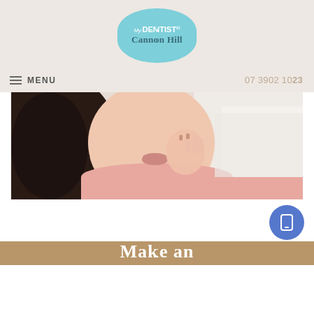[Figure (logo): My Dentist at Cannon Hill logo — teal/blue oval with white and dark teal text]
≡ MENU    07 3902 1023
[Figure (photo): Woman in pink top touching her jaw/cheek, suggesting dental pain]
Make an